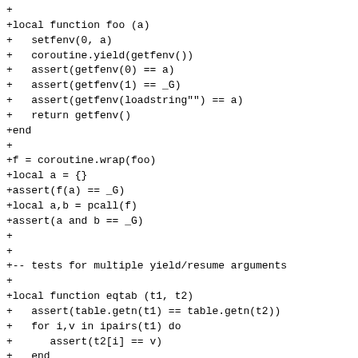+
+local function foo (a)
+   setfenv(0, a)
+   coroutine.yield(getfenv())
+   assert(getfenv(0) == a)
+   assert(getfenv(1) == _G)
+   assert(getfenv(loadstring"") == a)
+   return getfenv()
+end
+
+f = coroutine.wrap(foo)
+local a = {}
+assert(f(a) == _G)
+local a,b = pcall(f)
+assert(a and b == _G)
+
+
+-- tests for multiple yield/resume arguments
+
+local function eqtab (t1, t2)
+   assert(table.getn(t1) == table.getn(t2))
+   for i,v in ipairs(t1) do
+      assert(t2[i] == v)
+   end
+end
+
+_G.x = nil   -- declare x
+function foo (a, ...)
+   assert(coroutine.running() == f)
+   assert(coroutine.status(f) == "running")